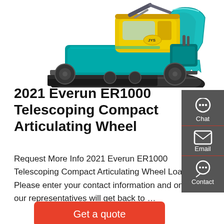[Figure (photo): Teal/blue mini excavator with yellow cab and black tracks, with a teal excavator bucket visible on the right side, on white background]
2021 Everun ER1000 Telescoping Compact Articulating Wheel
Request More Info 2021 Everun ER1000 Telescoping Compact Articulating Wheel Loader. Please enter your contact information and one of our representatives will get back to …
Get a quote